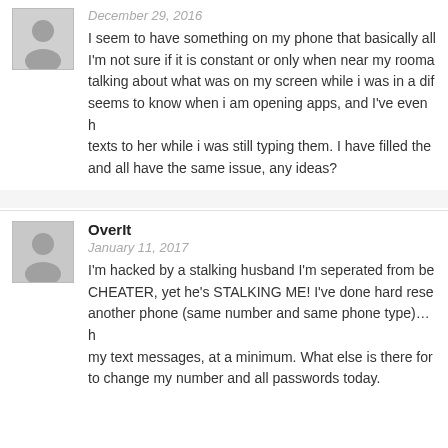December 29, 2016
I seem to have something on my phone that basically all I'm not sure if it is constant or only when near my rooma talking about what was on my screen while i was in a dif seems to know when i am opening apps, and I've even h texts to her while i was still typing them. I have filled the and all have the same issue, any ideas?
OverIt
January 11, 2017
I'm hacked by a stalking husband I'm seperated from be CHEATER, yet he's STALKING ME! I've done hard rese another phone (same number and same phone type)…h my text messages, at a minimum. What else is there for to change my number and all passwords today.